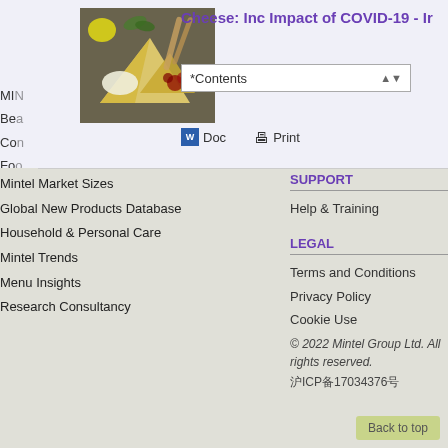Cheese: Inc Impact of COVID-19 - Ir
*Contents
Doc   Print
MIN
Bea
Con
Foo
Mintel Market Sizes
Global New Products Database
Household & Personal Care
Mintel Trends
Menu Insights
Research Consultancy
SUPPORT
Help & Training
LEGAL
Terms and Conditions
Privacy Policy
Cookie Use
© 2022 Mintel Group Ltd. All rights reserved.
沪ICP备17034376号
Back to top